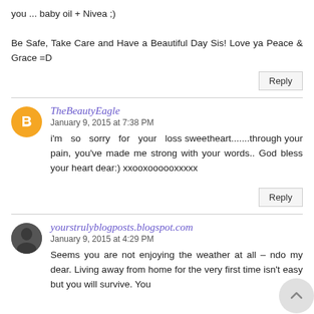you ... baby oil + Nivea ;)

Be Safe, Take Care and Have a Beautiful Day Sis! Love ya Peace & Grace =D
Reply
TheBeautyEagle
January 9, 2015 at 7:38 PM
i'm so sorry for your loss sweetheart.......through your pain, you've made me strong with your words.. God bless your heart dear:) xxooxoooooxxxxx
Reply
yourstrulyblogposts.blogspot.com
January 9, 2015 at 4:29 PM
Seems you are not enjoying the weather at all – ndo my dear. Living away from home for the very first time isn't easy but you will survive. You